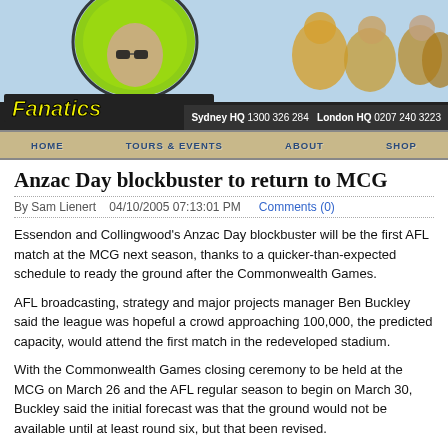[Figure (logo): Fanatics website header banner with logo showing a character with green afro hair and sunglasses, with crowd/fans in background. Fanatics logo in yellow and black text. Contact info: Sydney HQ 1300 326 284 London HQ 0207 240 3223]
HOME   TOURS & EVENTS   ABOUT   SHOP
Anzac Day blockbuster to return to MCG
By Sam Lienert   04/10/2005 07:13:01 PM   Comments (0)
Essendon and Collingwood's Anzac Day blockbuster will be the first AFL match at the MCG next season, thanks to a quicker-than-expected schedule to ready the ground after the Commonwealth Games.
AFL broadcasting, strategy and major projects manager Ben Buckley said the league was hopeful a crowd approaching 100,000, the predicted capacity, would attend the first match in the redeveloped stadium.
With the Commonwealth Games closing ceremony to be held at the MCG on March 26 and the AFL regular season to begin on March 30, Buckley said the initial forecast was that the ground would not be available until at least round six, but that been revised.
"We're very happy and delighted in working with the Victorian government that we should be able to get the venue ready after a four-week period after the Commonwealth Games," Buckley said.